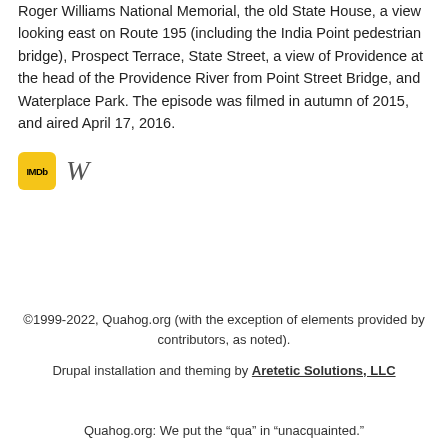Roger Williams National Memorial, the old State House, a view looking east on Route 195 (including the India Point pedestrian bridge), Prospect Terrace, State Street, a view of Providence at the head of the Providence River from Point Street Bridge, and Waterplace Park. The episode was filmed in autumn of 2015, and aired April 17, 2016.
[Figure (logo): IMDb logo (yellow rounded rectangle with 'IMDb' text) and Wikipedia 'W' icon side by side]
©1999-2022, Quahog.org (with the exception of elements provided by contributors, as noted). Drupal installation and theming by Aretetic Solutions, LLC
Quahog.org: We put the "qua" in "unacquainted."